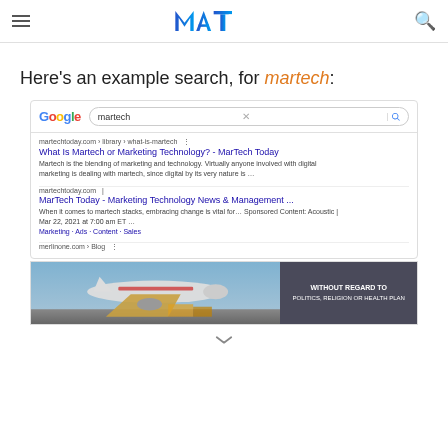MAT (MarTech) logo header with hamburger menu and search icon
Here's an example search, for martech:
[Figure (screenshot): Google search results screenshot for the query 'martech', showing results from martechtoday.com including 'What Is Martech or Marketing Technology? - MarTech Today' and 'MarTech Today - Marketing Technology News & Management...' and a partial result from merlinone.com, with an advertisement banner at the bottom showing an airplane cargo image and text 'WITHOUT REGARD TO POLITICS, RELIGION OR HEALTH PLAN']